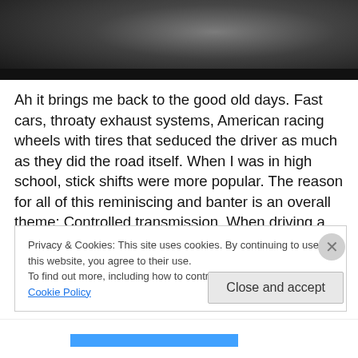[Figure (photo): Dark photograph banner at top of page, showing a dark gradient background suggesting a car or road scene]
Ah it brings me back to the good old days. Fast cars, throaty exhaust systems, American racing wheels with tires that seduced the driver as much as they did the road itself. When I was in high school, stick shifts were more popular. The reason for all of this reminiscing and banter is an overall theme: Controlled transmission. When driving a manual transmission, I feel like I am in more control. I can negotiate twists, turns and obstacles with more precision
Privacy & Cookies: This site uses cookies. By continuing to use this website, you agree to their use.
To find out more, including how to control cookies, see here: Cookie Policy
Close and accept